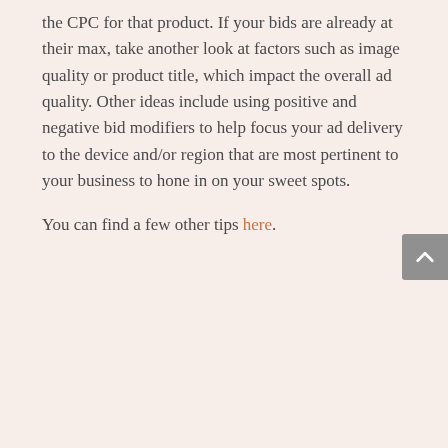the CPC for that product. If your bids are already at their max, take another look at factors such as image quality or product title, which impact the overall ad quality. Other ideas include using positive and negative bid modifiers to help focus your ad delivery to the device and/or region that are most pertinent to your business to hone in on your sweet spots.
You can find a few other tips here.